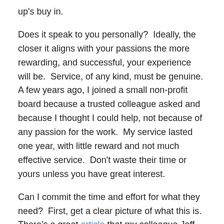up's buy in.
Does it speak to you personally?  Ideally, the closer it aligns with your passions the more rewarding, and successful, your experience will be.  Service, of any kind, must be genuine.  A few years ago, I joined a small non-profit board because a trusted colleague asked and because I thought I could help, not because of any passion for the work.  My service lasted one year, with little reward and not much effective service.  Don't waste their time or yours unless you have great interest.
Can I commit the time and effort for what they need?  First, get a clear picture of what this is.  There's a great article that my colleague Jeff Jowdy wrote that outlines some solid questions.  Ask these and any that help define your obligations.  And, this is important, if you can't